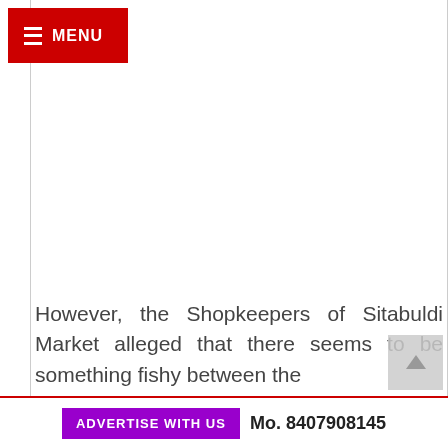MENU
However, the Shopkeepers of Sitabuldi Market alleged that there seems to be something fishy between the
ADVERTISE WITH US  Mo. 8407908145